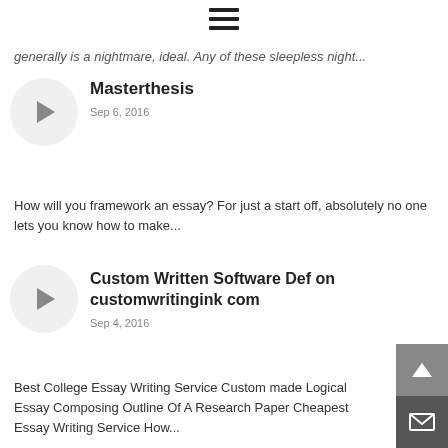☰
generally is a nightmare, ideal. Any of these sleepless night...
Masterthesis
Sep 6, 2016
How will you framework an essay? For just a start off, absolutely no one lets you know how to make...
Custom Written Software Def on customwritingink com
Sep 4, 2016
Best College Essay Writing Service Custom made Logical Essay Composing Outline Of A Research Paper Cheapest Essay Writing Service How...